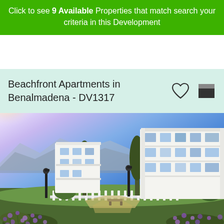Click to see 9 Available Properties that match search your criteria in this Development
Beachfront Apartments in Benalmadena - DV1317
[Figure (photo): Beachfront apartment complex in Benalmadena, showing modern white multi-storey buildings with blue sky, mountains in background, and a garden with purple wildflowers and white fence in foreground]